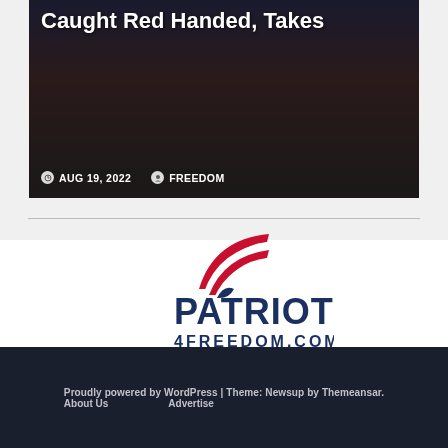[Figure (photo): Dark photo of people with overlaid text 'Caught Red Handed, Takes' and metadata showing AUG 19, 2022 and FREEDOM]
AUG 19, 2022   FREEDOM
[Figure (logo): Patriots 4Freedom.com logo with eagle and American flag wing design in red, white, and blue]
Proudly powered by WordPress | Theme: Newsup by Themeansar.
About Us   Advertise